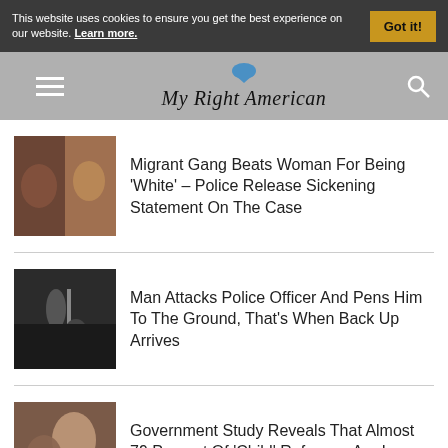This website uses cookies to ensure you get the best experience on our website. Learn more. Got it!
My Right American
Migrant Gang Beats Woman For Being 'White' – Police Release Sickening Statement On The Case
Man Attacks Police Officer And Pens Him To The Ground, That's When Back Up Arrives
Government Study Reveals That Almost 79 Percent Of 'Child' Refugees Are In Fact...